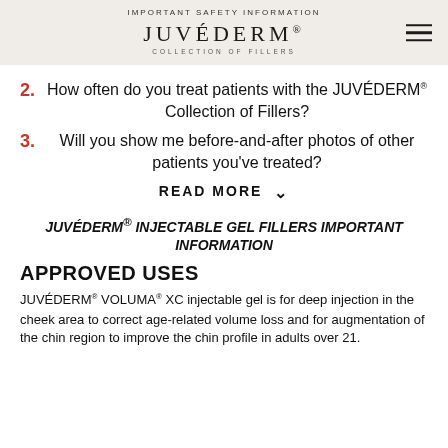IMPORTANT SAFETY INFORMATION
JUVÉDERM® COLLECTION OF FILLERS
2. How often do you treat patients with the JUVÉDERM® Collection of Fillers?
3. Will you show me before-and-after photos of other patients you've treated?
READ MORE
JUVÉDERM® INJECTABLE GEL FILLERS IMPORTANT INFORMATION
APPROVED USES
JUVÉDERM® VOLUMA® XC injectable gel is for deep injection in the cheek area to correct age-related volume loss and for augmentation of the chin region to improve the chin profile in adults over 21.